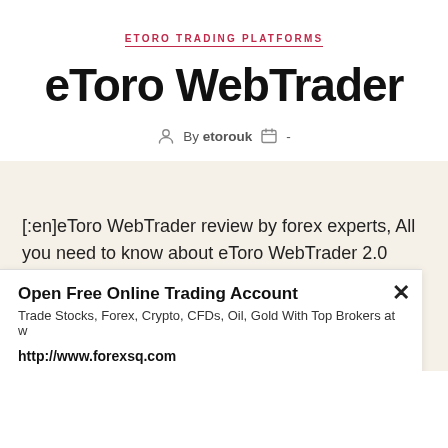ETORO TRADING PLATFORMS
eToro WebTrader
By etorouk  -
[:en]eToro WebTrader review by forex experts, All you need to know about eToro WebTrader 2.0 trading
Open Free Online Trading Account
Trade Stocks, Forex, Crypto, CFDs, Oil, Gold With Top Brokers at w
http://www.forexsq.com